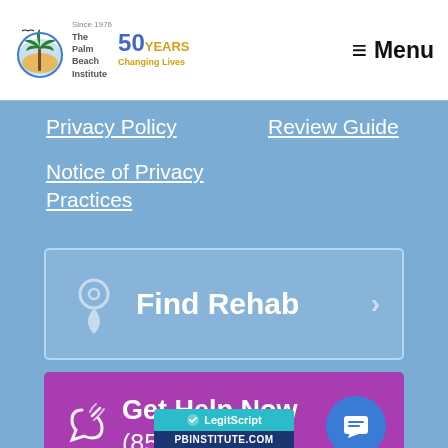[Figure (logo): The Palm Beach Institute logo with palm tree graphic and '50 Years Changing Lives' text]
Menu
Privacy Policy
Review Guide
Notice of Privacy Practices
Find Rehab
Get Help Now
(855) 440-0232
Tap to GET HELP NOW: (855) 440-0232
[Figure (logo): LegitScript badge with PBINSTITUTE.COM]